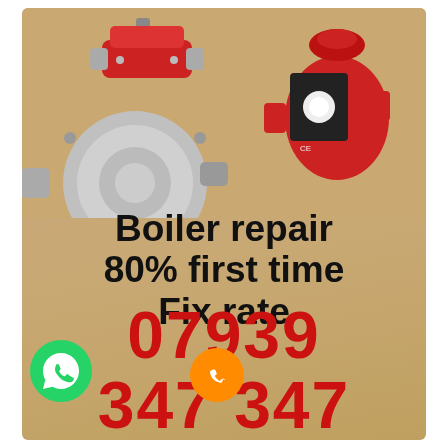[Figure (photo): Boiler repair advertisement showing boiler parts: a red motorised valve at top left, a grey fan/pump motor unit in the centre-left, and a red Grundfos circulation pump at the right, on a beige/tan background.]
Boiler repair 80% first time Fix rate
07939 347 347